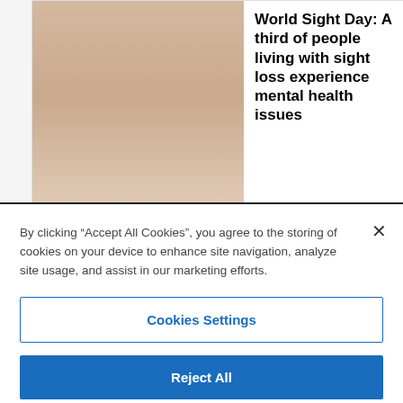World Sight Day: A third of people living with sight loss experience mental health issues
National Eye Health Week 2019: Fight for Sight poll highlights
By clicking “Accept All Cookies”, you agree to the storing of cookies on your device to enhance site navigation, analyze site usage, and assist in our marketing efforts.
Cookies Settings
Reject All
Accept All Cookies